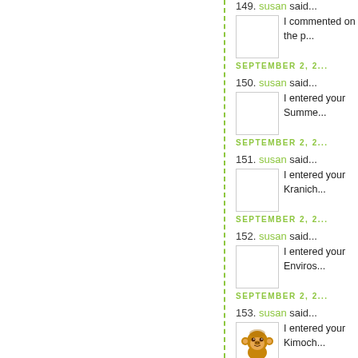149. susan said... I commented on the p... SEPTEMBER 2, 2...
150. susan said... I entered your Summe... SEPTEMBER 2, 2...
151. susan said... I entered your Kranich... SEPTEMBER 2, 2...
152. susan said... I entered your Enviros... SEPTEMBER 2, 2...
153. susan said... I entered your Kimoch... SEPTEMBER 2, 2...